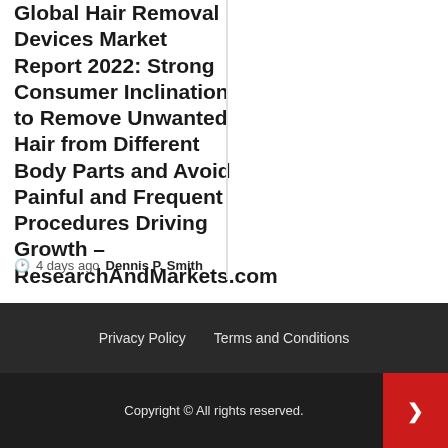Global Hair Removal Devices Market Report 2022: Strong Consumer Inclination to Remove Unwanted Hair from Different Body Parts and Avoid Painful and Frequent Procedures Driving Growth – ResearchAndMarkets.com
4 days ago  Dennis P. Smith
Privacy Policy   Terms and Conditions
Copyright © All rights reserved.